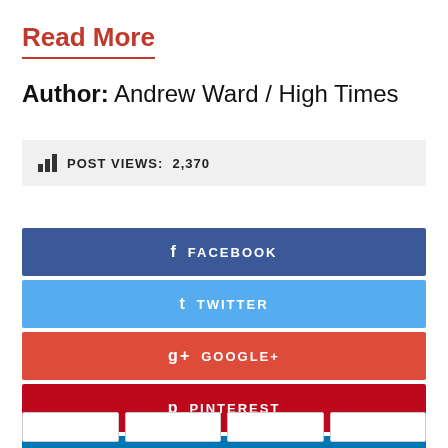Read More
Author: Andrew Ward / High Times
POST VIEWS: 2,370
FACEBOOK
TWITTER
GOOGLE+
PINTEREST
LINKEDIN